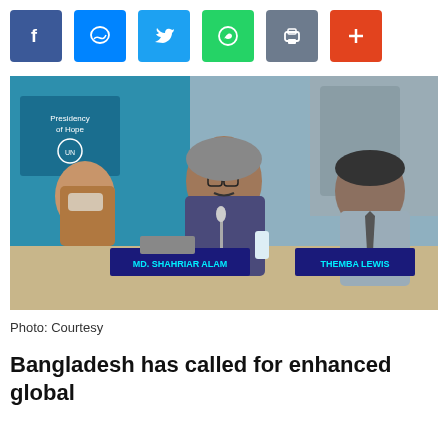[Figure (screenshot): Social media sharing buttons row: Facebook (blue), Messenger (blue), Twitter (light blue), WhatsApp (green), Print (grey), More/Plus (red)]
[Figure (photo): Three people seated at a conference table at a UN-style meeting. Center: MD. SHAHRIAR ALAM (nameplate), wearing glasses and a suit, speaking at a microphone. Right: THEMBA LEWIS (nameplate), man in grey suit with tie. Left: a woman in a brown jacket wearing a face mask. Background shows UN/international conference banners with text 'Presidency of Hope'.]
Photo: Courtesy
Bangladesh has called for enhanced global